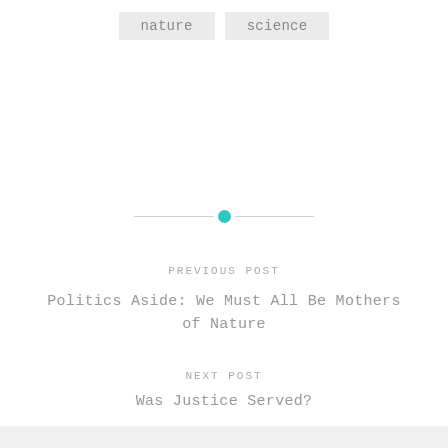nature   science
[Figure (other): Horizontal divider with a teal dot in the center and lines extending to each side]
PREVIOUS POST
Politics Aside: We Must All Be Mothers of Nature
NEXT POST
Was Justice Served?